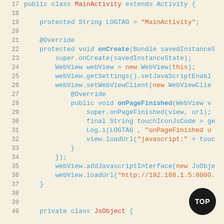Code listing showing Android MainActivity Java source code, lines 17-40
[Figure (screenshot): Android Java source code screenshot showing MainActivity extending Activity, with onCreate method, WebView setup, onPageFinished override, and JsObject private class declaration. Lines 17-40 visible.]